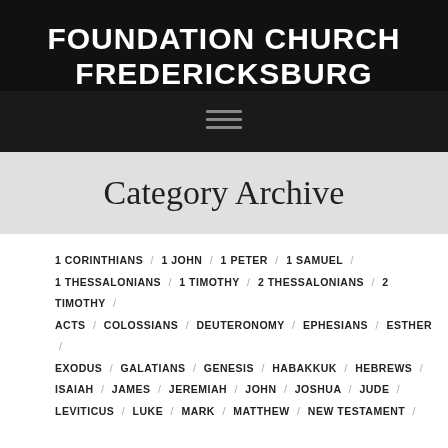FOUNDATION CHURCH FREDERICKSBURG
[Figure (other): Hamburger menu icon with three horizontal lines]
Category Archive
1 CORINTHIANS / 1 JOHN / 1 PETER / 1 SAMUEL /
1 THESSALONIANS / 1 TIMOTHY / 2 THESSALONIANS / 2 TIMOTHY /
ACTS / COLOSSIANS / DEUTERONOMY / EPHESIANS / ESTHER /
EXODUS / GALATIANS / GENESIS / HABAKKUK / HEBREWS /
ISAIAH / JAMES / JEREMIAH / JOHN / JOSHUA / JUDE /
LEVITICUS / LUKE / MARK / MATTHEW / NEW TESTAMENT /